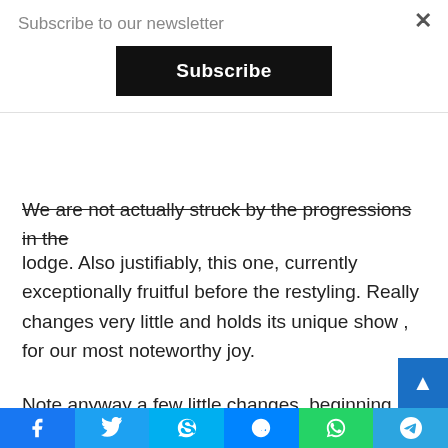Subscribe to our newsletter
Subscribe
We are not actually struck by the progressions in the lodge. Also justifiably, this one, currently exceptionally fruitful before the restyling. Really changes very little and holds its unique show , for our most noteworthy joy.
Note anyway a few little changes, beginning with the appearance. Of a shiny new 10-inch contact screen introduced on the dashboard.
This is upheld by a computerized handset here restored. Which yet at this point profits by the new
Facebook | Twitter | Skype | Messenger | WhatsApp | Telegram